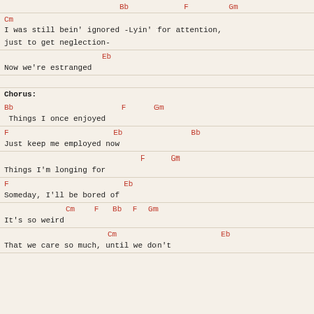Bb   F   Gm (chords)
Cm
I was still bein' ignored -Lyin' for attention, just to get neglection-
Eb
Now we're estranged
Chorus:
Bb   F   Gm
Things I once enjoyed
F   Eb   Bb
Just keep me employed now
F   Gm
Things I'm longing for
F   Eb
Someday, I'll be bored of
Cm F Bb F Gm
It's so weird
Cm   Eb
That we care so much, until we don't